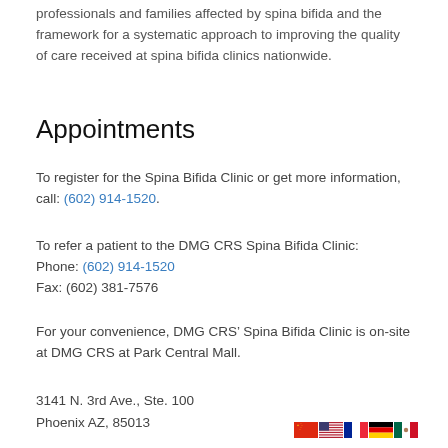professionals and families affected by spina bifida and the framework for a systematic approach to improving the quality of care received at spina bifida clinics nationwide.
Appointments
To register for the Spina Bifida Clinic or get more information, call: (602) 914-1520.
To refer a patient to the DMG CRS Spina Bifida Clinic:
Phone: (602) 914-1520
Fax: (602) 381-7576
For your convenience, DMG CRS’ Spina Bifida Clinic is on-site at DMG CRS at Park Central Mall.
3141 N. 3rd Ave., Ste. 100
Phoenix AZ, 85013